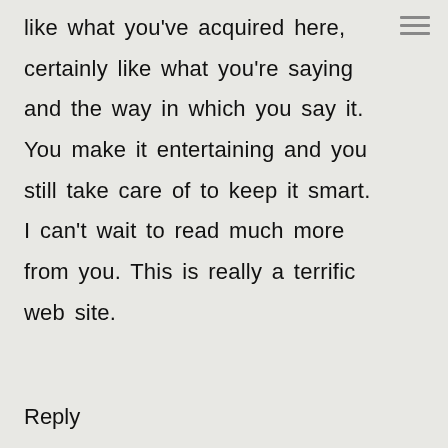like what you've acquired here, certainly like what you're saying and the way in which you say it. You make it entertaining and you still take care of to keep it smart. I can't wait to read much more from you. This is really a terrific web site.
Reply